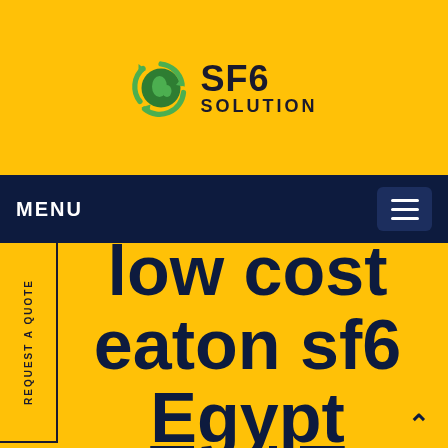[Figure (logo): SF6 Solution logo with green circular recycling arrow icon and text SF6 SOLUTION on yellow background]
MENU
low cost eaton sf6 Egypt